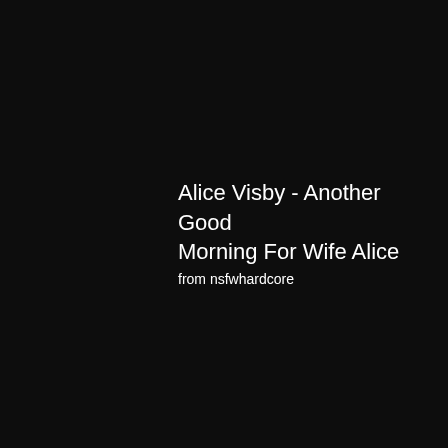Alice Visby - Another Good Morning For Wife Alice
from nsfwhardcore